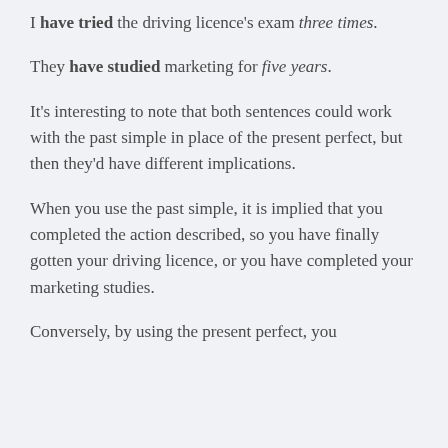I have tried the driving licence's exam three times.
They have studied marketing for five years.
It's interesting to note that both sentences could work with the past simple in place of the present perfect, but then they'd have different implications.
When you use the past simple, it is implied that you completed the action described, so you have finally gotten your driving licence, or you have completed your marketing studies.
Conversely, by using the present perfect, you